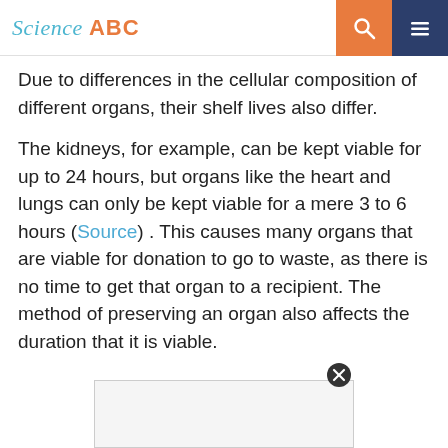Science ABC
Due to differences in the cellular composition of different organs, their shelf lives also differ.
The kidneys, for example, can be kept viable for up to 24 hours, but organs like the heart and lungs can only be kept viable for a mere 3 to 6 hours (Source) . This causes many organs that are viable for donation to go to waste, as there is no time to get that organ to a recipient. The method of preserving an organ also affects the duration that it is viable.